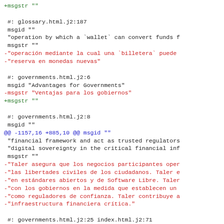+msgstr ""

 #: glossary.html.j2:187
 msgid ""
 "operation by which a `wallet` can convert funds f
 msgstr ""
-"operación mediante la cual una `billetera` puede
-"reserva en monedas nuevas"

 #: governments.html.j2:6
 msgid "Advantages for Governments"
-msgstr "Ventajas para los gobiernos"
+msgstr ""

 #: governments.html.j2:8
 msgid ""
@@ -1157,16 +885,10 @@ msgid ""
 "financial framework and act as trusted regulators
 "digital sovereignty in the critical financial inf
 msgstr ""
-"Taler asegura que los negocios participantes oper
-"las libertades civiles de los ciudadanos. Taler e
-"en estándares abiertos y de Software Libre. Taler
-"con los gobiernos en la medida que establecen un
-"como reguladores de confianza. Taler contribuye a
-"infraestructura financiera crítica."

 #: governments.html.j2:25 index.html.j2:71
 msgid "Taxable"
-msgstr "Imponible"